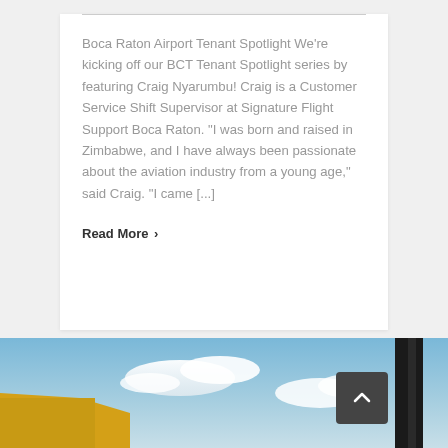Boca Raton Airport Tenant Spotlight  We're kicking off our BCT Tenant Spotlight series by featuring Craig Nyarumbu! Craig is a Customer Service Shift Supervisor at Signature Flight Support Boca Raton. "I was born and raised in Zimbabwe, and I have always been passionate about the aviation industry from a young age," said Craig. "I came [...]
Read More >
[Figure (photo): Bottom portion of a photo showing a building exterior with a yellow roof edge against a blue sky with clouds, and a dark pole or column on the right side.]